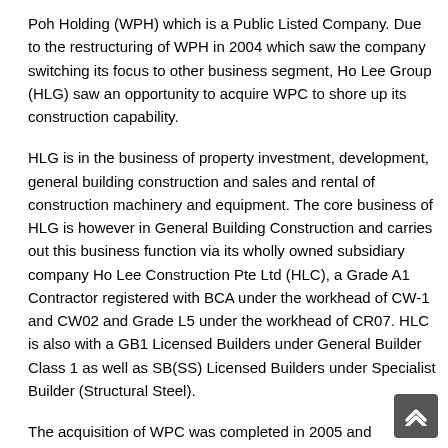Poh Holding (WPH) which is a Public Listed Company. Due to the restructuring of WPH in 2004 which saw the company switching its focus to other business segment, Ho Lee Group (HLG) saw an opportunity to acquire WPC to shore up its construction capability.
HLG is in the business of property investment, development, general building construction and sales and rental of construction machinery and equipment. The core business of HLG is however in General Building Construction and carries out this business function via its wholly owned subsidiary company Ho Lee Construction Pte Ltd (HLC), a Grade A1 Contractor registered with BCA under the workhead of CW-1 and CW02 and Grade L5 under the workhead of CR07. HLC is also with a GB1 Licensed Builders under General Builder Class 1 as well as SB(SS) Licensed Builders under Specialist Builder (Structural Steel).
The acquisition of WPC was completed in 2005 and WPCâ€™s registered office is currently at 200 Jalan Sultan #04-25, Textile Centre, Singapore 199018, sharing the same office with HLC. WPC has also been restructured by HLG and is currently a wholly owned subsidiary of HLC and it is a Grade C3 Contractor registered with BCA under the workhead of CW01 and is also a GB1 Licensed...